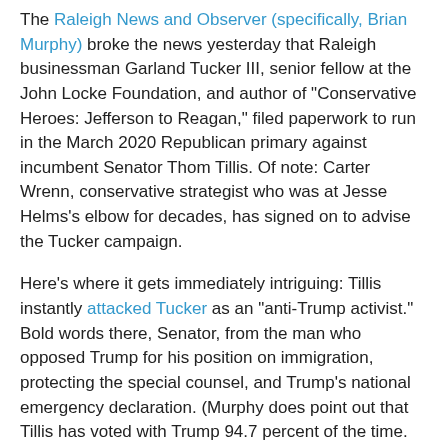The Raleigh News and Observer (specifically, Brian Murphy) broke the news yesterday that Raleigh businessman Garland Tucker III, senior fellow at the John Locke Foundation, and author of "Conservative Heroes: Jefferson to Reagan," filed paperwork to run in the March 2020 Republican primary against incumbent Senator Thom Tillis. Of note: Carter Wrenn, conservative strategist who was at Jesse Helms's elbow for decades, has signed on to advise the Tucker campaign.
Here's where it gets immediately intriguing: Tillis instantly attacked Tucker as an "anti-Trump activist." Bold words there, Senator, from the man who opposed Trump for his position on immigration, protecting the special counsel, and Trump's national emergency declaration. (Murphy does point out that Tillis has voted with Trump 94.7 percent of the time. But still.)
Tucker does look pretty anti-Trump, and the Tillis people are fanning that coal:
Tillis's team pointed to a 2016 News & Observer